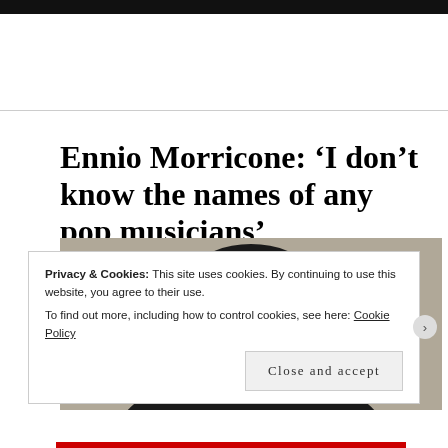[Figure (photo): Dark header image strip at top of page]
Ennio Morricone: ‘I don’t know the names of any pop musicians’
[Figure (photo): Black and white photo of elderly man in dark suit holding finger to lips in a shushing gesture, wearing glasses]
Privacy & Cookies: This site uses cookies. By continuing to use this website, you agree to their use. To find out more, including how to control cookies, see here: Cookie Policy
Close and accept